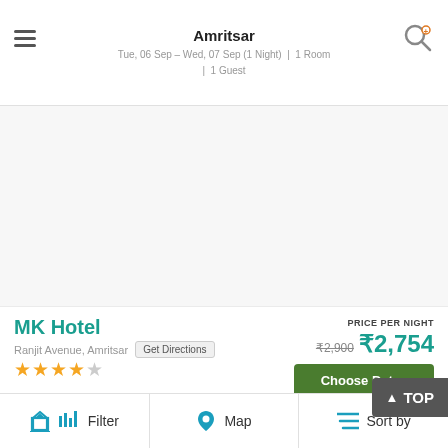Amritsar
Tue, 06 Sep – Wed, 07 Sep (1 Night) | 1 Room | 1 Guest
[Figure (photo): Hotel image area (blank/white)]
MK Hotel
Ranjit Avenue, Amritsar  Get Directions
★★★★☆
PRICE PER NIGHT
₹2,900  ₹2,754
Choose Dates
4.2/5 Excellent  (3256)   3 R
Reachable at a distance of 6 km from Harmandir Sahib, MK Hotel is a
Filter   Map   Sort by